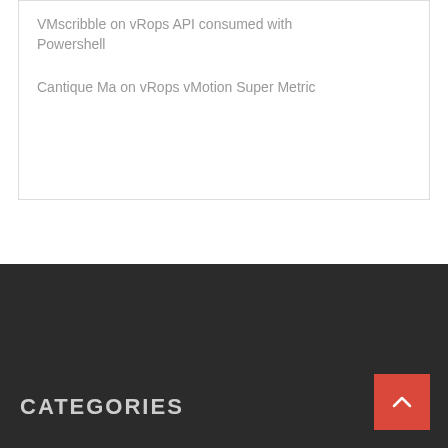VMscribble on vRops API consumed with Powershell
Cantique Ma on vRops vMotion Super Metric
CATEGORIES